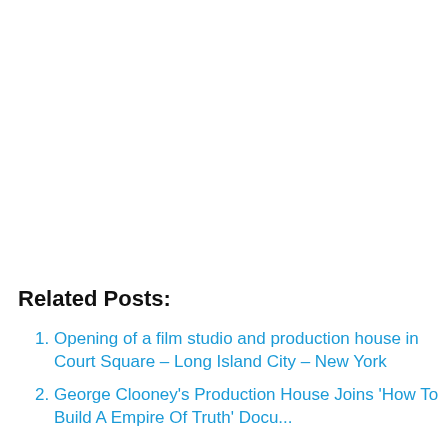Related Posts:
Opening of a film studio and production house in Court Square – Long Island City – New York
George Clooney's Production House Joins 'How To Build A Empire Of Truth' Documentary